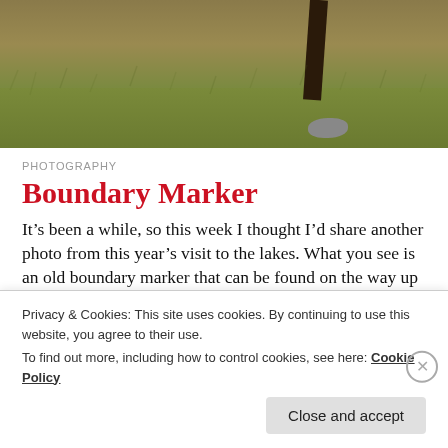[Figure (photo): Outdoor photograph showing an old boundary marker post set in rocky ground, with green-brown hillside grass in background. The dark wooden/metal post is visible in the upper right portion of the image.]
PHOTOGRAPHY
Boundary Marker
It’s been a while, so this week I thought I’d share another photo from this year’s visit to the lakes. What you see is an old boundary marker that can be found on the way up Sheffield Pike from Nick Head, a col that can be reached by the path up Glencoyne. These markers fascinate me. Perhaps because of their simplicity: no
Privacy & Cookies: This site uses cookies. By continuing to use this website, you agree to their use.
To find out more, including how to control cookies, see here: Cookie Policy
Close and accept